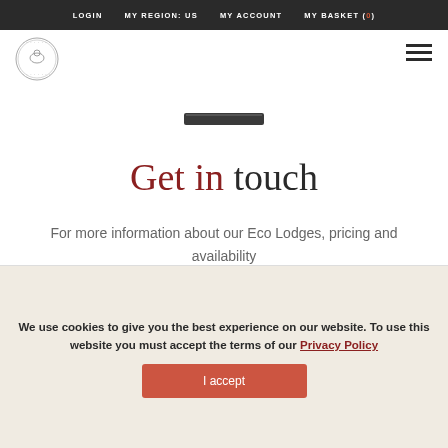LOGIN   MY REGION: US   MY ACCOUNT   MY BASKET (0)
[Figure (logo): Circular logo with animal/wildlife illustration and text around the border]
[Figure (other): Partially visible product image strip]
Get in touch
For more information about our Eco Lodges, pricing and availability
We use cookies to give you the best experience on our website. To use this website you must accept the terms of our Privacy Policy
I accept